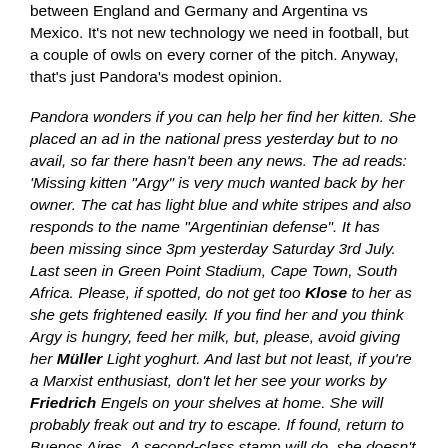between England and Germany and Argentina vs Mexico. It's not new technology we need in football, but a couple of owls on every corner of the pitch. Anyway, that's just Pandora's modest opinion.
Pandora wonders if you can help her find her kitten. She placed an ad in the national press yesterday but to no avail, so far there hasn't been any news. The ad reads: 'Missing kitten "Argy" is very much wanted back by her owner. The cat has light blue and white stripes and also responds to the name "Argentinian defense". It has been missing since 3pm yesterday Saturday 3rd July. Last seen in Green Point Stadium, Cape Town, South Africa. Please, if spotted, do not get too Klose to her as she gets frightened easily. If you find her and you think Argy is hungry, feed her milk, but, please, avoid giving her Müller Light yoghurt. And last but not least, if you're a Marxist enthusiast, don't let her see your works by Friedrich Engels on your shelves at home. She will probably freak out and try to escape. If found, return to Buenos Aires. A second-class stamp will do, she doesn't deserve more. Distinctive feature: a stapled stomach and a Che Guevara tattoo.' Your kind help, readers and fellow bloggers, will be